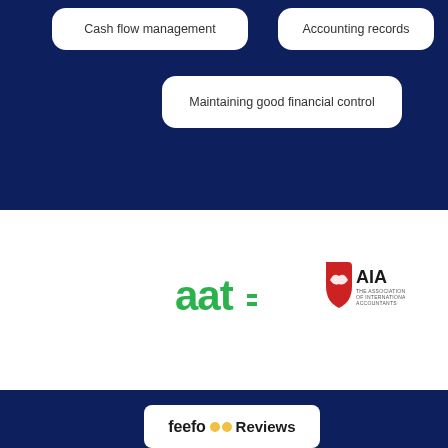Cash flow management
Accounting records
Maintaining good financial control
[Figure (logo): AAT logo in green]
[Figure (logo): AIA (Association of International Accountants) logo with red shield]
feefo Reviews